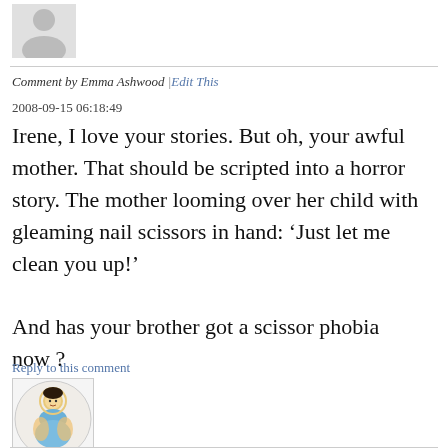[Figure (illustration): Gray silhouette avatar placeholder image at top left]
Comment by Emma Ashwood |Edit This
2008-09-15 06:18:49
Irene, I love your stories. But oh, your awful mother. That should be scripted into a horror story. The mother looming over her child with gleaming nail scissors in hand: ‘Just let me clean you up!’

And has your brother got a scissor phobia now ?
Reply to this comment
[Figure (illustration): Circular icon depicting a Hindu deity figure (Krishna) holding a calf or animal, with decorative colors]